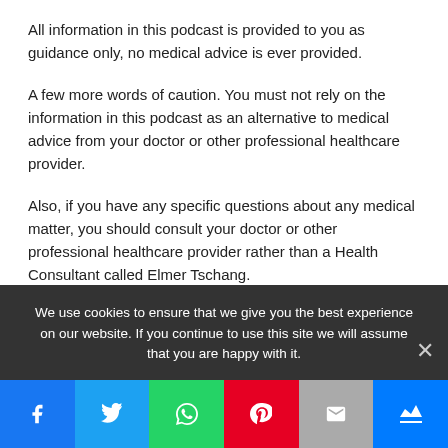All information in this podcast is provided to you as guidance only, no medical advice is ever provided.
A few more words of caution. You must not rely on the information in this podcast as an alternative to medical advice from your doctor or other professional healthcare provider.
Also, if you have any specific questions about any medical matter, you should consult your doctor or other professional healthcare provider rather than a Health Consultant called Elmer Tschang.
If you think you may be suffering from any medical
We use cookies to ensure that we give you the best experience on our website. If you continue to use this site we will assume that you are happy with it.
[Figure (infographic): Social media share buttons: Facebook, Twitter, WhatsApp, Pinterest, Email, Crown/subscribe]